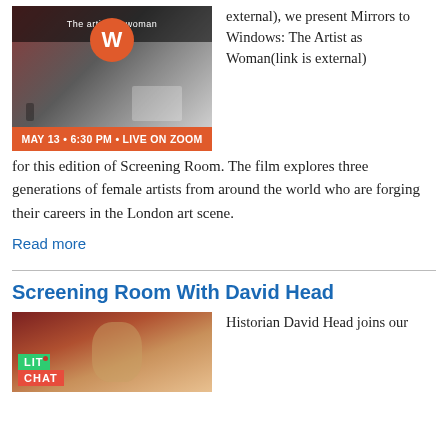[Figure (photo): Event promotional image for Mirrors to Windows: The Artist as Woman, showing an art gallery scene with orange bar reading MAY 13 • 6:30 PM • LIVE ON ZOOM]
external), we present Mirrors to Windows: The Artist as Woman(link is external) for this edition of Screening Room. The film explores three generations of female artists from around the world who are forging their careers in the London art scene.
Read more
Screening Room With David Head
[Figure (photo): Lit Chat badge over a classical portrait painting background]
Historian David Head joins our